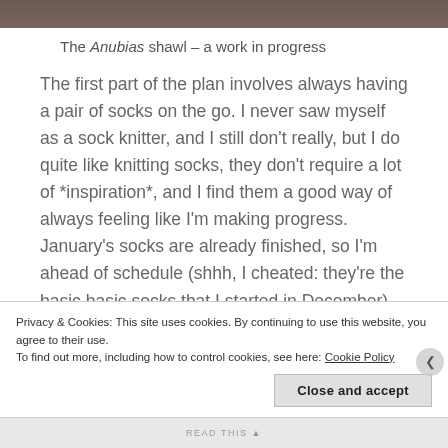[Figure (photo): Top portion of a photo, dark brown/gray tones, partially cropped]
The Anubias shawl – a work in progress
The first part of the plan involves always having a pair of socks on the go. I never saw myself as a sock knitter, and I still don't really, but I do quite like knitting socks, they don't require a lot of *inspiration*, and I find them a good way of always feeling like I'm making progress. January's socks are already finished, so I'm ahead of schedule (shhh, I cheated: they're the basic basic socks that I started in December), and work on February's socks can start. I bought some gorgeous hand-dyed yarn from
Privacy & Cookies: This site uses cookies. By continuing to use this website, you agree to their use.
To find out more, including how to control cookies, see here: Cookie Policy
Close and accept